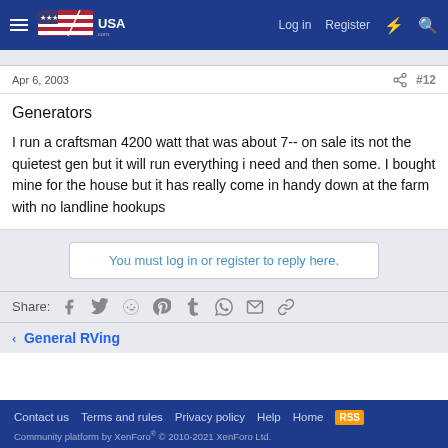RVUSA.com forum navigation bar with Log in, Register, and search icons
Apr 6, 2003 #12
Generators
I run a craftsman 4200 watt that was about 7-- on sale its not the quietest gen but it will run everything i need and then some. I bought mine for the house but it has really come in handy down at the farm with no landline hookups
You must log in or register to reply here.
Share:
General RVing
Contact us  Terms and rules  Privacy policy  Help  Home  RSS  Community platform by XenForo® © 2010-2021 XenForo Ltd.